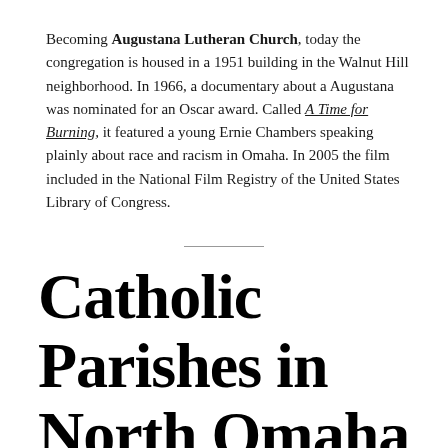Becoming Augustana Lutheran Church, today the congregation is housed in a 1951 building in the Walnut Hill neighborhood. In 1966, a documentary about a Augustana was nominated for an Oscar award. Called A Time for Burning, it featured a young Ernie Chambers speaking plainly about race and racism in Omaha. In 2005 the film included in the National Film Registry of the United States Library of Congress.
Catholic Parishes in North Omaha